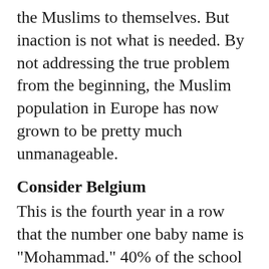the Muslims to themselves. But inaction is not what is needed. By not addressing the true problem from the beginning, the Muslim population in Europe has now grown to be pretty much unmanageable.
Consider Belgium
This is the fourth year in a row that the number one baby name is "Mohammad." 40% of the school chi[MENU button]slim. And, surprise surprise, the Muslims